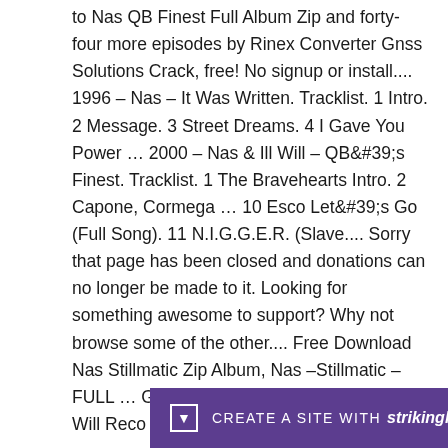to Nas QB Finest Full Album Zip and forty-four more episodes by Rinex Converter Gnss Solutions Crack, free! No signup or install.... 1996 – Nas – It Was Written. Tracklist. 1 Intro. 2 Message. 3 Street Dreams. 4 I Gave You Power … 2000 – Nas & Ill Will – QB&#39;s Finest. Tracklist. 1 The Bravehearts Intro. 2 Capone, Cormega … 10 Esco Let&#39;s Go (Full Song). 11 N.I.G.G.E.R. (Slave.... Sorry that page has been closed and donations can no longer be made to it. Looking for something awesome to support? Why not browse some of the other.... Free Download Nas Stillmatic Zip Album, Nas –Stillmatic –FULL … God&#39;s Son [iTunes]. Nas & Ill Will Records … Find album albu...bums
[Figure (other): Strikingly website builder promotional bar with purple background, downward arrow icon, 'CREATE A SITE WITH strikingly' text in white]